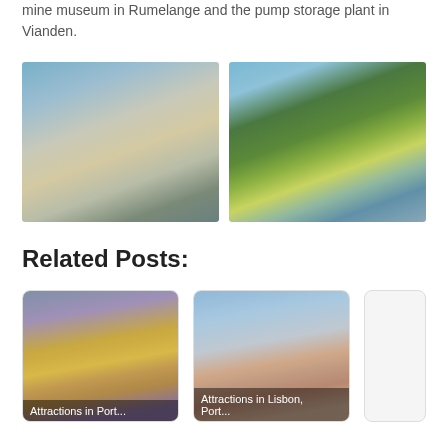mine museum in Rumelange and the pump storage plant in Vianden.
[Figure (photo): View of Luxembourg city with historic buildings reflected in a river, old stone buildings along waterway]
[Figure (photo): Vianden castle on a green forested hillside with a river and fountain in the foreground]
Related Posts:
[Figure (photo): Ornate palace or cathedral with golden domes, travel card for Attractions in Portugal]
Attractions in Portugal
[Figure (photo): Aerial view of Lisbon city with bridge in background, travel card for Attractions in Lisbon, Portugal]
Attractions in Lisbon, Portugal